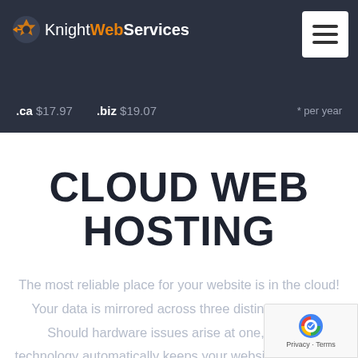KnightWebServices
.ca $17.97   .biz $19.07   * per year
CLOUD WEB HOSTING
The most reliable place for your website is in the cloud! Your data is mirrored across three distinct devices. Should hardware issues arise at one, failover technology automatically keeps your website functioning while the iss...